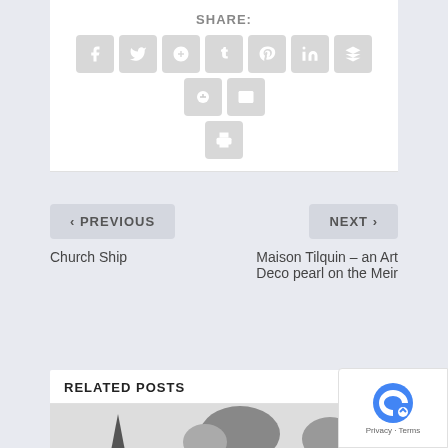SHARE:
[Figure (infographic): Social sharing buttons: Facebook, Twitter, Google+, Tumblr, Pinterest, LinkedIn, Buffer, StumbleUpon, Email, Print]
< PREVIOUS
NEXT >
Church Ship
Maison Tilquin – an Art Deco pearl on the Meir
RELATED POSTS
[Figure (photo): Black and white photo showing church spire and trees]